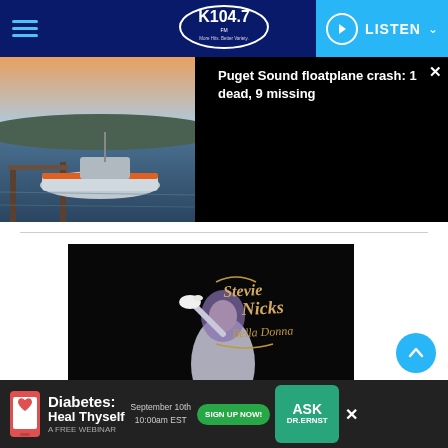K104.7 FM — More Hits, Better Variety | LISTEN
[Figure (screenshot): News article banner: left half shows a Coast Guard boat on Puget Sound at dusk; right half is black overlay with headline text]
Puget Sound floatplane crash: 1 dead, 9 missing
[Figure (photo): Stevie Nicks Bella Donna album cover: woman in white dress holding a white dove, ornate calligraphic logo]
[Figure (infographic): Advertisement banner: Diabetes: Heal Thyself — A Free Webinar. September 10th 10:00am EST. Sign Up Now! Ask Dr. Ernst.]